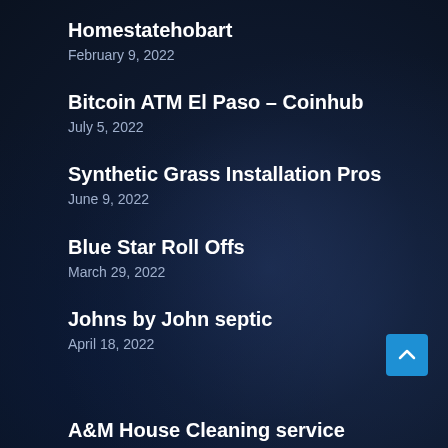Homestatehobart
February 9, 2022
Bitcoin ATM El Paso – Coinhub
July 5, 2022
Synthetic Grass Installation Pros
June 9, 2022
Blue Star Roll Offs
March 29, 2022
Johns by John septic
April 18, 2022
[Figure (other): Scroll to top button with upward chevron icon, blue square button]
A&M House Cleaning service